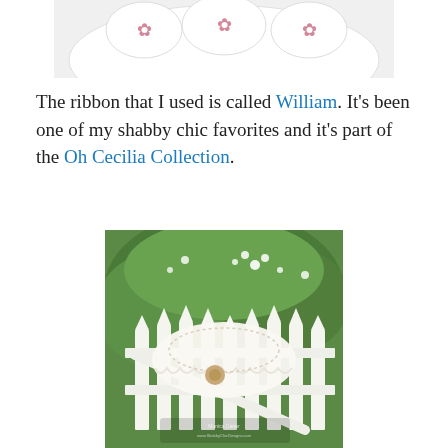[Figure (photo): Top portion of a photo showing small white items (possibly baby shoes or pins) with pink cross-stitch bird designs on a white plate, cropped at top]
The ribbon that I used is called William. It's been one of my shabby chic favorites and it's part of the Oh Cecilia Collection.
[Figure (photo): A white lace and ruffled fabric piece with a flower embellishment draped over a white picket fence gate, with green foliage and small white flowers in the background. Watermark visible at bottom.]